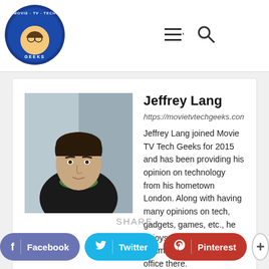[Figure (logo): Movie TV Tech Geeks circular logo with blue background and cartoon face]
[Figure (illustration): Hamburger menu icon and search magnifying glass icon in header]
[Figure (photo): Jeffrey Lang author photo - young man with dark hair wearing black jacket and green scarf]
Jeffrey Lang
https://movietvtechgeeks.com/
Jeffrey Lang joined Movie TV Tech Geeks for 2015 and has been providing his opinion on technology from his hometown London. Along with having many opinions on tech, gadgets, games, etc., he enjoys watching the Thames from our satellite office there.
SHARE
f  Facebook
Twitter
p  Pinterest
+